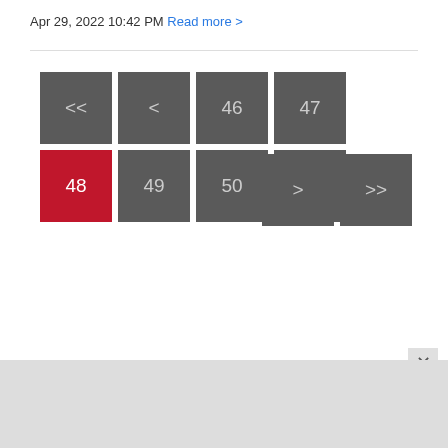Apr 29, 2022 10:42 PM Read more >
[Figure (screenshot): Pagination navigation with buttons: <<, <, 46, 47, 48 (active/red), 49, 50, 51, then >, >> on second row]